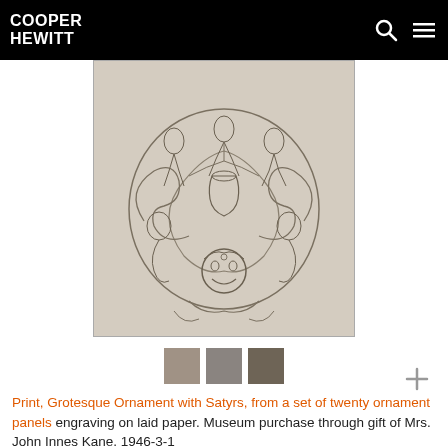COOPER HEWITT
[Figure (photo): Engraving print showing Grotesque Ornament with Satyrs — a symmetrical decorative composition featuring satyrs, scrolling foliage, fantastical creatures, and a grotesque mask face at the bottom center, on laid paper.]
[Figure (infographic): Three color swatches: medium gray-beige, medium gray, and dark gray-brown.]
Print, Grotesque Ornament with Satyrs, from a set of twenty ornament panels engraving on laid paper. Museum purchase through gift of Mrs. John Innes Kane. 1946-3-1